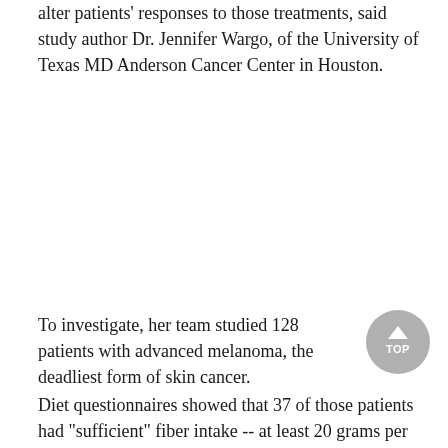alter patients' responses to those treatments, said study author Dr. Jennifer Wargo, of the University of Texas MD Anderson Cancer Center in Houston.
To investigate, her team studied 128 patients with advanced melanoma, the deadliest form of skin cancer.
Diet questionnaires showed that 37 of those patients had "sufficient" fiber intake -- at least 20 grams per day from foods